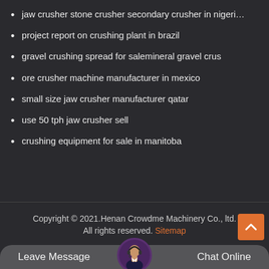jaw crusher stone crusher secondary crusher in nigeri…
project report on crushing plant in brazil
gravel crushing spread for salemineral gravel crus
ore crusher machine manufacturer in mexico
small size jaw crusher manufacturer qatar
use 50 tph jaw crusher sell
crushing equipment for sale in manitoba
Copyright © 2021.Henan Crowdme Machinery Co., ltd. All rights reserved. Sitemap
Leave Message   Chat Online